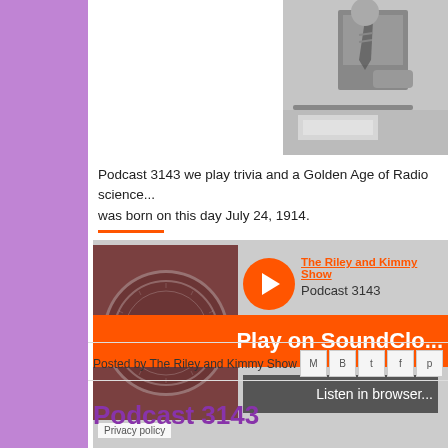[Figure (photo): Black and white photo of a person in a suit at a desk]
Podcast 3143 we play trivia and a Golden Age of Radio science... was born on this day July 24, 1914.
[Figure (screenshot): SoundCloud embedded player for The Riley and Kimmy Show · Podcast 3143, with orange Play on SoundCloud button and Listen in browser button]
The Riley and Kimmy Show · Podcast 3143
Posted by The Riley and Kimmy Show
Podcast 3143